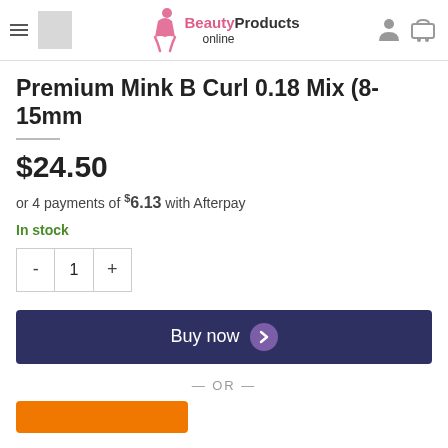Beauty Products online — navigation header
Premium Mink B Curl 0.18 Mix (8-15mm
$24.50
or 4 payments of $6.13 with Afterpay
In stock
Quantity selector: - 1 +
Buy now
— OR —